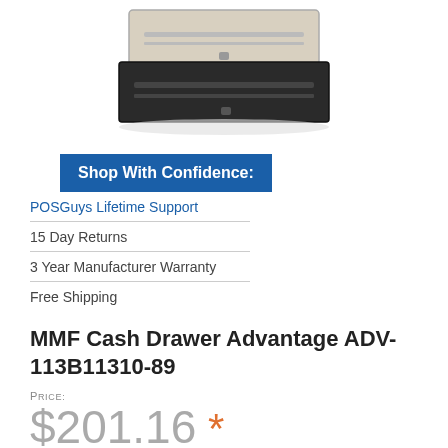[Figure (photo): Product photo of MMF Cash Drawer Advantage ADV-113B11310-89, showing a beige/black cash drawer unit from a slightly elevated angle.]
Shop With Confidence:
POSGuys Lifetime Support
15 Day Returns
3 Year Manufacturer Warranty
Free Shipping
MMF Cash Drawer Advantage ADV-113B11310-89
Price: $201.16 *
* This product has been designated as End Of Life by the